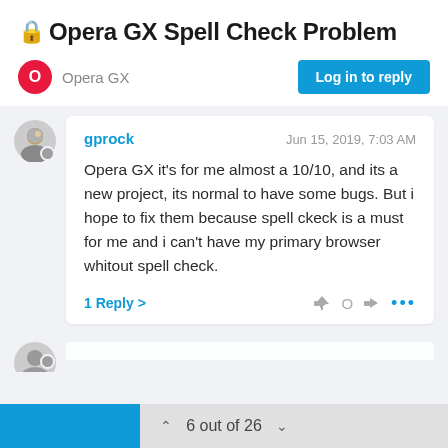🔒 Opera GX Spell Check Problem
Opera GX
Log in to reply
gprock
Jun 15, 2019, 7:03 AM
Opera GX it's for me almost a 10/10, and its a new project, its normal to have some bugs. But i hope to fix them because spell ckeck is a must for me and i can't have my primary browser whitout spell check.
1 Reply >
6 out of 26